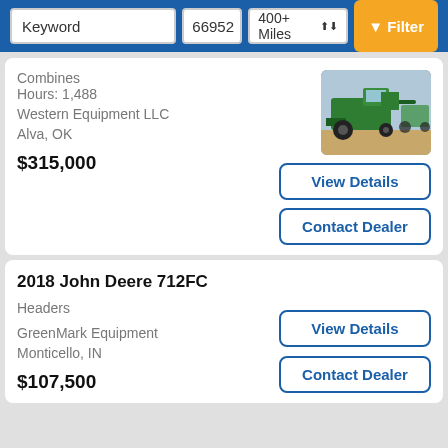Keyword | 66952 | 400+ Miles | Filter
Combines
Hours: 1,488
Western Equipment LLC
Alva, OK
$315,000
[Figure (photo): John Deere green combine harvester in a field]
View Details
Contact Dealer
2018 John Deere 712FC
Headers
GreenMark Equipment
Monticello, IN
$107,500
View Details
Contact Dealer